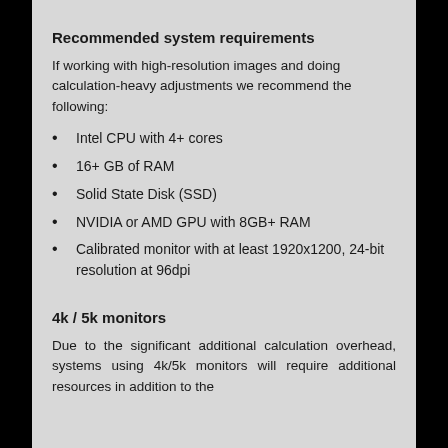Recommended system requirements
If working with high-resolution images and doing calculation-heavy adjustments we recommend the following:
Intel CPU with 4+ cores
16+ GB of RAM
Solid State Disk (SSD)
NVIDIA or AMD GPU with 8GB+ RAM
Calibrated monitor with at least 1920x1200, 24-bit resolution at 96dpi
4k / 5k monitors
Due to the significant additional calculation overhead, systems using 4k/5k monitors will require additional resources in addition to the above recommended hardware (better GPU, and